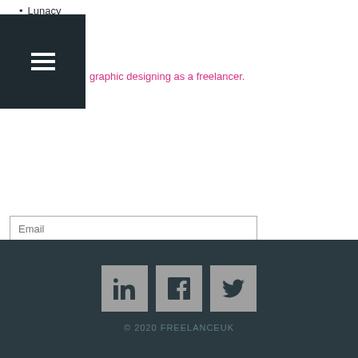Lunacy
[Figure (other): Dark navigation hamburger menu icon on dark background]
graphic designing as a freelancer.
Email
Name
Subscribe
[Figure (other): Social media icons: LinkedIn, Facebook, Twitter on dark footer]
© 2020 FREELANCEUK